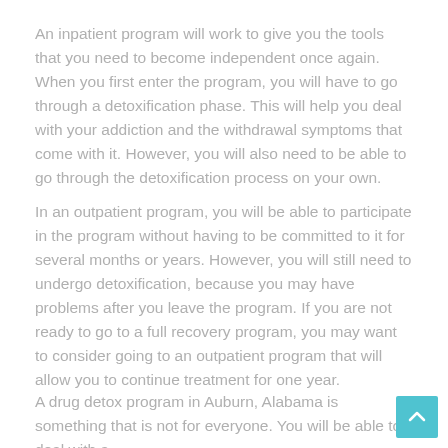An inpatient program will work to give you the tools that you need to become independent once again. When you first enter the program, you will have to go through a detoxification phase. This will help you deal with your addiction and the withdrawal symptoms that come with it. However, you will also need to be able to go through the detoxification process on your own.
In an outpatient program, you will be able to participate in the program without having to be committed to it for several months or years. However, you will still need to undergo detoxification, because you may have problems after you leave the program. If you are not ready to go to a full recovery program, you may want to consider going to an outpatient program that will allow you to continue treatment for one year.
A drug detox program in Auburn, Alabama is something that is not for everyone. You will be able to deal with a